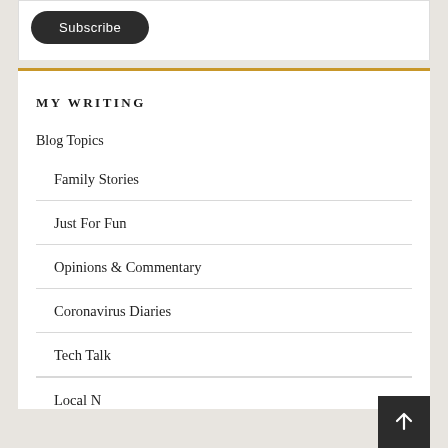[Figure (other): Subscribe button — dark rounded rectangle with white text]
MY WRITING
Blog Topics
Family Stories
Just For Fun
Opinions & Commentary
Coronavirus Diaries
Tech Talk
Local News (partial)